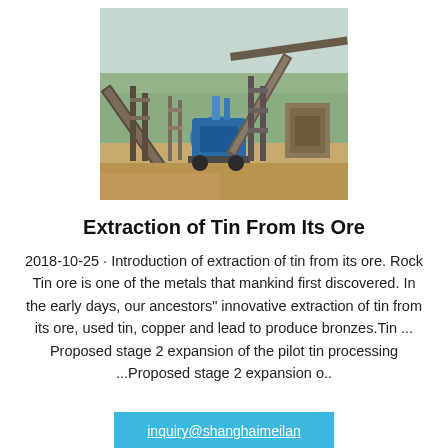[Figure (photo): Outdoor mining/ore processing facility with conveyor belts, crushers, and industrial machinery on a dirt ground with trees in background.]
Extraction of Tin From Its Ore
2018-10-25 · Introduction of extraction of tin from its ore. Rock Tin ore is one of the metals that mankind first discovered. In the early days, our ancestors" innovative extraction of tin from its ore, used tin, copper and lead to produce bronzes.Tin ... Proposed stage 2 expansion of the pilot tin processing ...Proposed stage 2 expansion o..
inquiry@shanghaimeilan